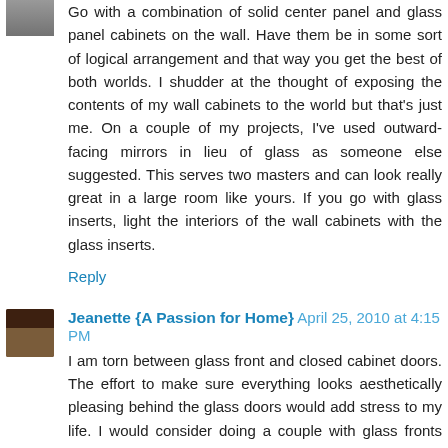Go with a combination of solid center panel and glass panel cabinets on the wall. Have them be in some sort of logical arrangement and that way you get the best of both worlds. I shudder at the thought of exposing the contents of my wall cabinets to the world but that's just me. On a couple of my projects, I've used outward-facing mirrors in lieu of glass as someone else suggested. This serves two masters and can look really great in a large room like yours. If you go with glass inserts, light the interiors of the wall cabinets with the glass inserts.
Reply
Jeanette {A Passion for Home} April 25, 2010 at 4:15 PM
I am torn between glass front and closed cabinet doors. The effort to make sure everything looks aesthetically pleasing behind the glass doors would add stress to my life. I would consider doing a couple with glass fronts but not all of them. That's not to say I do not like all glass doors. I do love the look.
Reply